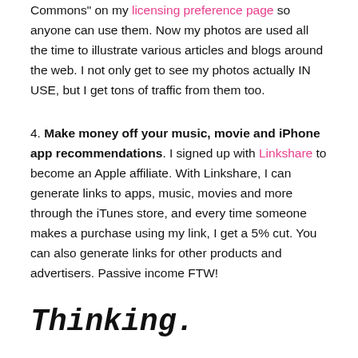Commons" on my licensing preference page so anyone can use them. Now my photos are used all the time to illustrate various articles and blogs around the web. I not only get to see my photos actually IN USE, but I get tons of traffic from them too.
4. Make money off your music, movie and iPhone app recommendations. I signed up with Linkshare to become an Apple affiliate. With Linkshare, I can generate links to apps, music, movies and more through the iTunes store, and every time someone makes a purchase using my link, I get a 5% cut. You can also generate links for other products and advertisers. Passive income FTW!
Thinking.
5. Focus your attention with lifestreaming. Guide your life experience by publishing your photos, videos, music, writing, everything! Your attention is a constantly flowing stream of creative power. Lifestreaming is a way to consciously direct that power. It doesn't matter one bit what you're focusing on, all that matters is that you're focused on it. If you're focused